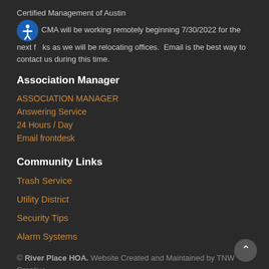Certified Management of Austin
N CMA will be working remotely beginning 7/30/2022 for the next f ks as we will be relocating offices. Email is the best way to contact us during this time.
Association Manager
ASSOCIATION MANAGER
Answering Service
24 Hours / Day
Email frontdesk
Community Links
Trash Service
Utility District
Security Tips
Alarm Systems
© River Place HOA. Website Created and Maintained by TNW Creative Web Design, Austin, Texas.